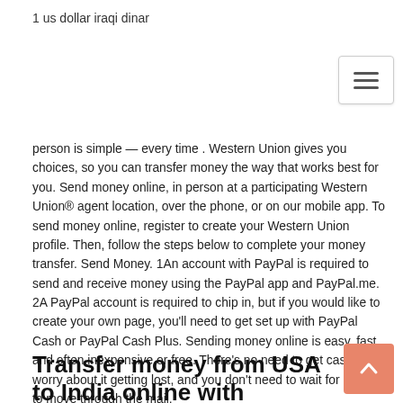1 us dollar iraqi dinar
person is simple — every time . Western Union gives you choices, so you can transfer money the way that works best for you. Send money online, in person at a participating Western Union® agent location, over the phone, or on our mobile app. To send money online, register to create your Western Union profile. Then, follow the steps below to complete your money transfer. Send Money. 1An account with PayPal is required to send and receive money using the PayPal app and PayPal.me. 2A PayPal account is required to chip in, but if you would like to create your own page, you'll need to get set up with PayPal Cash or PayPal Cash Plus. Sending money online is easy, fast, and often inexpensive or free. There's no need to get cash or worry about it getting lost, and you don't need to wait for checks to move through the mail.
Transfer money from USA to India online with Remit2India